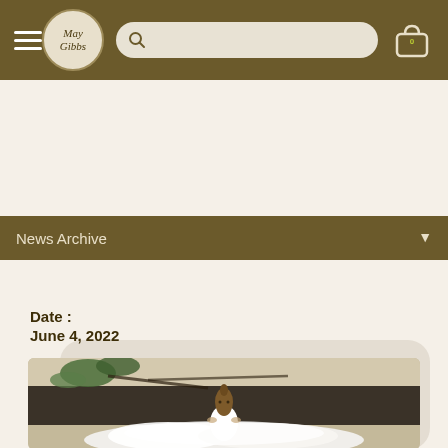May Gibbs navigation bar with hamburger menu, logo, search bar, and cart
News Archive
Do You Want to Make an Aussie Inspired Snowman?
Date : June 4, 2022
[Figure (photo): A small Gumnut Baby figurine (brown teardrop-shaped character) sitting in white fluffy material resembling snow, with green leaves and dark branches in the background.]